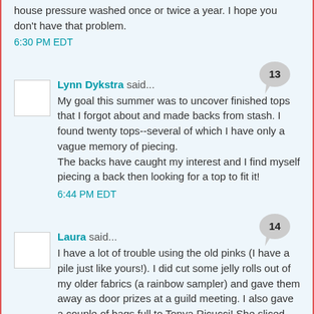house pressure washed once or twice a year. I hope you don't have that problem.
6:30 PM EDT
Lynn Dykstra said...
My goal this summer was to uncover finished tops that I forgot about and made backs from stash. I found twenty tops--several of which I have only a vague memory of piecing.
The backs have caught my interest and I find myself piecing a back then looking for a top to fit it!
6:44 PM EDT
Laura said...
I have a lot of trouble using the old pinks (I have a pile just like yours!). I did cut some jelly rolls out of my older fabrics (a rainbow sampler) and gave them away as door prizes at a guild meeting. I also gave a couple of bags full to Tonya Ricucci! She sliced them into tiny slices and they look fabulous!